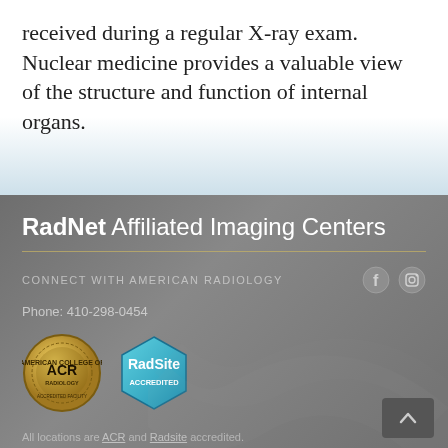received during a regular X-ray exam. Nuclear medicine provides a valuable view of the structure and function of internal organs.
RadNet Affiliated Imaging Centers
CONNECT WITH AMERICAN RADIOLOGY
Phone: 410-298-0454
[Figure (logo): ACR American College of Radiology Accredited Facility gold seal badge]
[Figure (logo): RadSite Accredited hexagonal blue badge]
All locations are ACR and Radsite accredited.